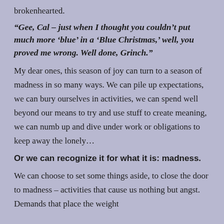brokenhearted.
“Gee, Cal – just when I thought you couldn’t put much more ‘blue’ in a ‘Blue Christmas,’ well, you proved me wrong. Well done, Grinch.”
My dear ones, this season of joy can turn to a season of madness in so many ways. We can pile up expectations, we can bury ourselves in activities, we can spend well beyond our means to try and use stuff to create meaning, we can numb up and dive under work or obligations to keep away the lonely…
Or we can recognize it for what it is: madness.
We can choose to set some things aside, to close the door to madness – activities that cause us nothing but angst. Demands that place the weight